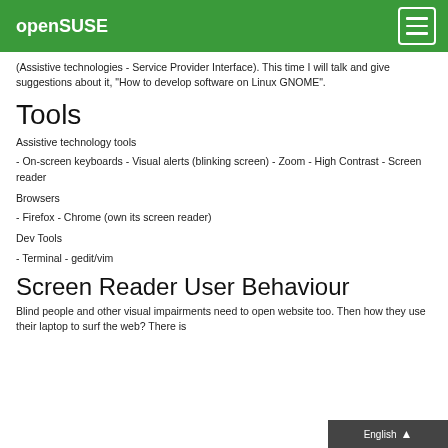openSUSE
(Assistive technologies - Service Provider Interface). This time I will talk and give suggestions about it, "How to develop software on Linux GNOME".
Tools
Assistive technology tools
- On-screen keyboards - Visual alerts (blinking screen) - Zoom - High Contrast - Screen reader
Browsers
- Firefox - Chrome (own its screen reader)
Dev Tools
- Terminal - gedit/vim
Screen Reader User Behaviour
Blind people and other visual impairments need to open website too. Then how they use their laptop to surf the web? There is